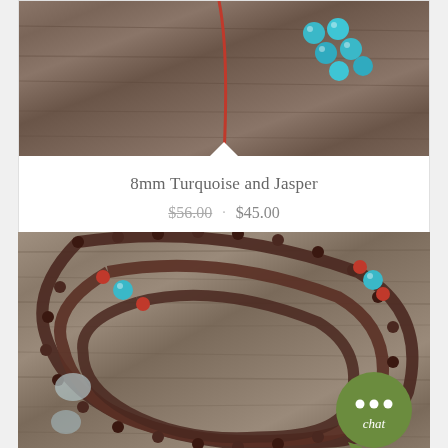[Figure (photo): Top portion of a product card showing a wooden background with turquoise beads and a red string]
8mm Turquoise and Jasper
$56.00 · $45.00
[Figure (photo): Close-up photo of dark rosewood mala beads coiled on a gray wooden surface with turquoise and red coral accent beads. A chat bubble with '...' and 'chat' text appears in the bottom right corner.]